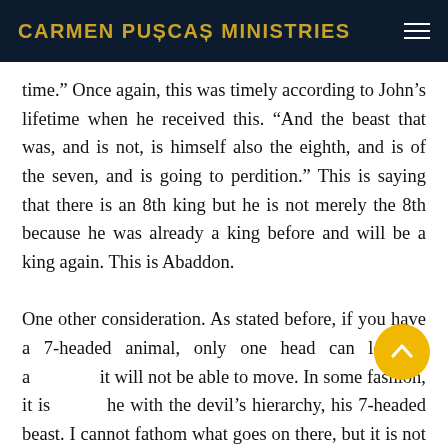CARMEN PUȘCAȘ MINISTRIES
time.” Once again, this was timely according to John’s lifetime when he received this. “And the beast that was, and is not, is himself also the eighth, and is of the seven, and is going to perdition.” This is saying that there is an 8th king but he is not merely the 8th because he was already a king before and will be a king again. This is Abaddon.

One other consideration. As stated before, if you have a 7-headed animal, only one head can lead at a time, it will not be able to move. In some fashion, it is the same with the devil’s hierarchy, his 7-headed beast. I cannot fathom what goes on there, but it is not “rocket science” to know that when one head leads the others are...